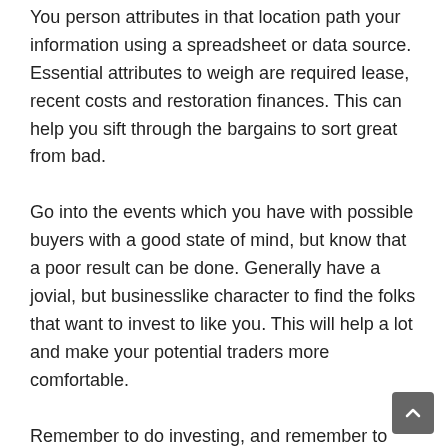You person attributes in that location path your information using a spreadsheet or data source. Essential attributes to weigh are required lease, recent costs and restoration finances. This can help you sift through the bargains to sort great from bad.
Go into the events which you have with possible buyers with a good state of mind, but know that a poor result can be done. Generally have a jovial, but businesslike character to find the folks that want to invest to like you. This will help a lot and make your potential traders more comfortable.
Remember to do investing, and remember to learn about it. You may have to give up some discretion routines to accomplish this. Let go of a few of your recreational efforts and commit it with your property.